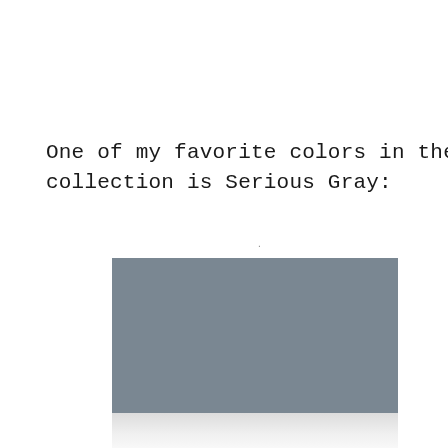One of my favorite colors in the Livable Luxe collection is Serious Gray:
[Figure (illustration): A solid gray color swatch representing the paint color 'Serious Gray' from the Livable Luxe collection, with a slight reflection below it.]